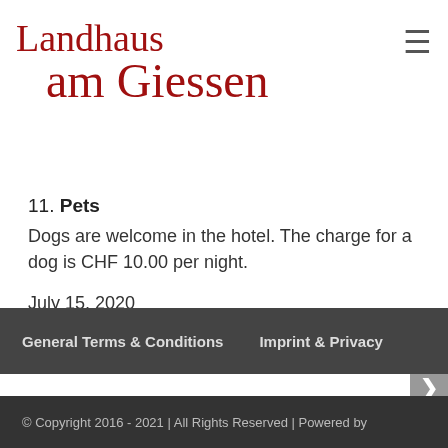Landhaus am Giessen
11. Pets
Dogs are welcome in the hotel. The charge for a dog is CHF 10.00 per night.
July 15, 2020
General Terms & Conditions   Imprint & Privacy
© Copyright 2016 - 2021 | All Rights Reserved | Powered by